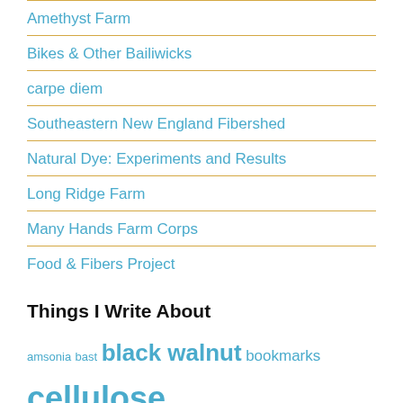Amethyst Farm
Bikes & Other Bailiwicks
carpe diem
Southeastern New England Fibershed
Natural Dye: Experiments and Results
Long Ridge Farm
Many Hands Farm Corps
Food & Fibers Project
Things I Write About
amsonia bast black walnut bookmarks cellulose color color theory coptic binding cordage Cosmos sulphurous cattelin cotton flax